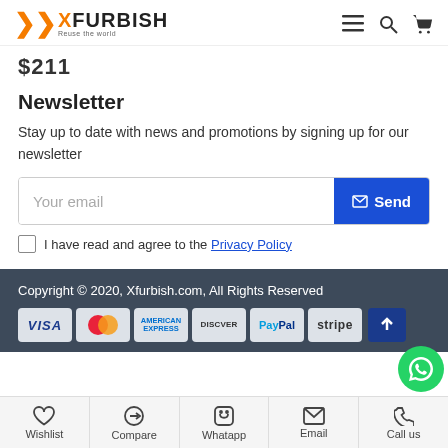Xfurbish — Reuse the world
$211
Newsletter
Stay up to date with news and promotions by signing up for our newsletter
Your email [Send button]
I have read and agree to the Privacy Policy
Copyright © 2020, Xfurbish.com, All Rights Reserved
[Figure (other): Payment method icons: VISA, Mastercard, American Express, Discover, PayPal, Stripe]
Wishlist | Compare | Whatapp | Email | Call us